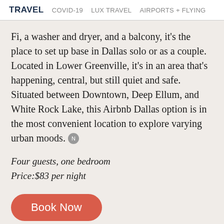TRAVEL  COVID-19  LUX TRAVEL  AIRPORTS + FLYING
Fi, a washer and dryer, and a balcony, it's the place to set up base in Dallas solo or as a couple. Located in Lower Greenville, it's in an area that's happening, central, but still quiet and safe. Situated between Downtown, Deep Ellum, and White Rock Lake, this Airbnb Dallas option is in the most convenient location to explore varying urban moods.
Four guests, one bedroom
Price:$83 per night
Book Now